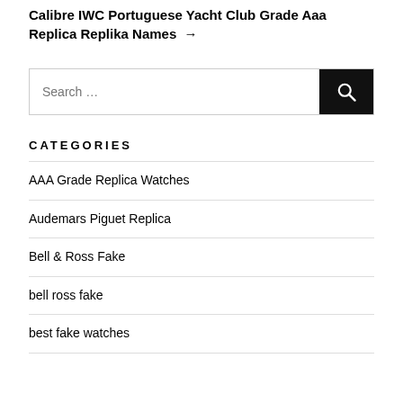Calibre IWC Portuguese Yacht Club Grade Aaa Replica Replika Names →
Search …
CATEGORIES
AAA Grade Replica Watches
Audemars Piguet Replica
Bell & Ross Fake
bell ross fake
best fake watches